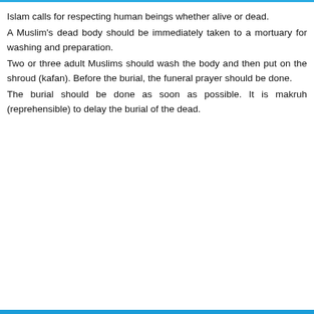Islam calls for respecting human beings whether alive or dead.
A Muslim's dead body should be immediately taken to a mortuary for washing and preparation.
Two or three adult Muslims should wash the body and then put on the shroud (kafan). Before the burial, the funeral prayer should be done.
The burial should be done as soon as possible. It is makruh (reprehensible) to delay the burial of the dead.